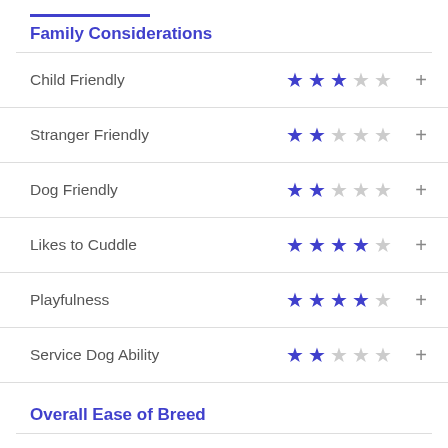Family Considerations
| Trait | Rating | Action |
| --- | --- | --- |
| Child Friendly | 3/5 | + |
| Stranger Friendly | 2/5 | + |
| Dog Friendly | 2/5 | + |
| Likes to Cuddle | 4/5 | + |
| Playfulness | 4/5 | + |
| Service Dog Ability | 2/5 | + |
Overall Ease of Breed
| Trait | Rating | Action |
| --- | --- | --- |
| Ease for Novice | 4/5 | + |
| Training Potential | 4/5 | + |